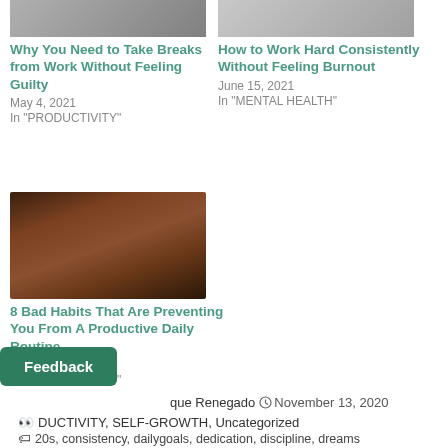[Figure (photo): Photo for 'Why You Need to Take Breaks from Work Without Feeling Guilty' article]
Why You Need to Take Breaks from Work Without Feeling Guilty
May 4, 2021
In "PRODUCTIVITY"
[Figure (photo): Photo for 'How to Work Hard Consistently Without Feeling Burnout' article]
How to Work Hard Consistently Without Feeling Burnout
June 15, 2021
In "MENTAL HEALTH"
[Figure (photo): Photo of man working at night for '8 Bad Habits That Are Preventing You From A Productive Daily Routine' article]
8 Bad Habits That Are Preventing You From A Productive Daily Routine
April 28, 2021
In "PRODUCTIVITY"
Feedback
que Renegado   November 13, 2020
DUCTIVITY, SELF-GROWTH, Uncategorized
20s, consistency, dailygoals, dedication, discipline, dreams